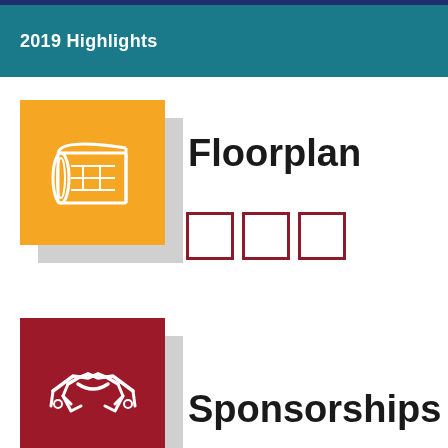2019 Highlights
[Figure (illustration): Orange square icon with a rolled floorplan/blueprint drawing in white line art]
Floorplan
[Figure (illustration): Three empty checkbox squares in dark red/maroon border]
[Figure (illustration): Dark red/maroon square icon with two hands shaking (handshake) in white line art]
Sponsorships